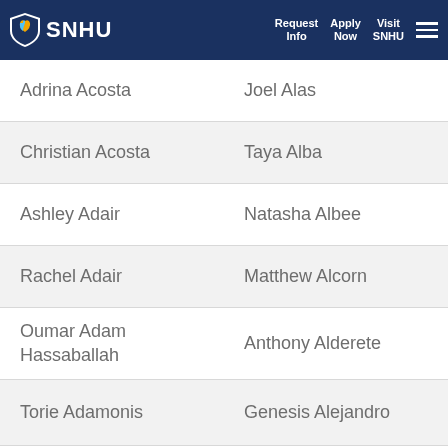SNHU | Request Info | Apply Now | Visit SNHU
Adrina Acosta | Joel Alas
Christian Acosta | Taya Alba
Ashley Adair | Natasha Albee
Rachel Adair | Matthew Alcorn
Oumar Adam Hassaballah | Anthony Alderete
Torie Adamonis | Genesis Alejandro